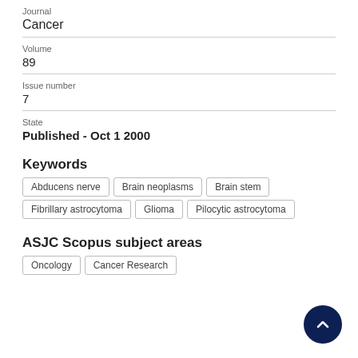Journal
Cancer
Volume
89
Issue number
7
State
Published - Oct 1 2000
Keywords
Abducens nerve
Brain neoplasms
Brain stem
Fibrillary astrocytoma
Glioma
Pilocytic astrocytoma
ASJC Scopus subject areas
Oncology
Cancer Research